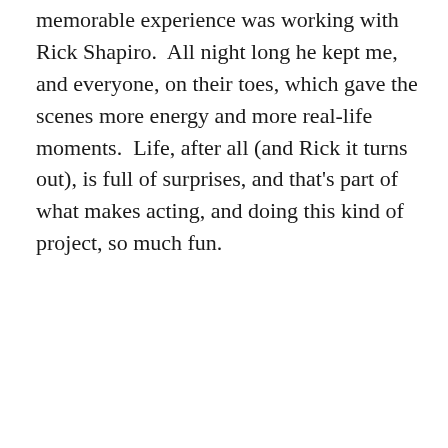memorable experience was working with Rick Shapiro.  All night long he kept me, and everyone, on their toes, which gave the scenes more energy and more real-life moments.  Life, after all (and Rick it turns out), is full of surprises, and that's part of what makes acting, and doing this kind of project, so much fun.